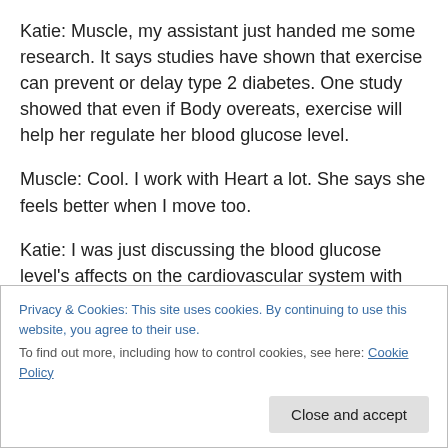Katie: Muscle, my assistant just handed me some research. It says studies have shown that exercise can prevent or delay type 2 diabetes. One study showed that even if Body overeats, exercise will help her regulate her blood glucose level.
Muscle: Cool. I work with Heart a lot. She says she feels better when I move too.
Katie: I was just discussing the blood glucose level's affects on the cardiovascular system with the Kidney
Privacy & Cookies: This site uses cookies. By continuing to use this website, you agree to their use.
To find out more, including how to control cookies, see here: Cookie Policy
Close and accept